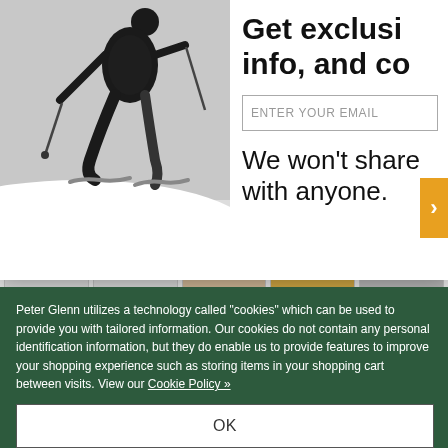[Figure (photo): Black and white photo of a skier in mid-air performing a jump, with ski poles extended, against a grey sky background]
Get exclusi info, and co
ENTER YOUR EMAIL
We won't share with anyone.
Available At a Store Near You
Peter Glenn utilizes a technology called "cookies" which can be used to provide you with tailored information. Our cookies do not contain any personal identification information, but they do enable us to provide features to improve your shopping experience such as storing items in your shopping cart between visits. View our Cookie Policy »
OK